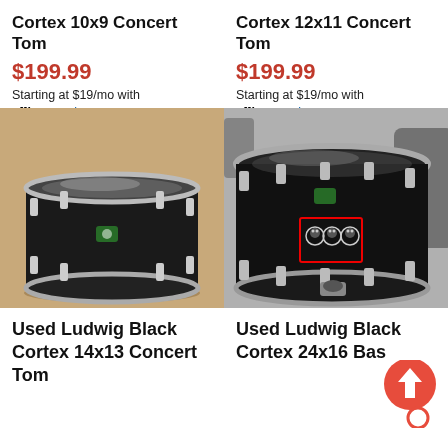Cortex 10x9 Concert Tom
$199.99
Starting at $19/mo with affirm. Learn more
Cortex 12x11 Concert Tom
$199.99
Starting at $19/mo with affirm. Learn more
[Figure (photo): Used Ludwig Black Cortex 14x13 Concert Tom drum, black finish with chrome hardware, viewed from top-front angle]
[Figure (photo): Used Ludwig Black Cortex 24x16 Bass drum, black finish with chrome hardware and skull stickers in red outline rectangle, viewed from front angle]
Used Ludwig Black Cortex 14x13 Concert Tom
Used Ludwig Black Cortex 24x16 Bas…